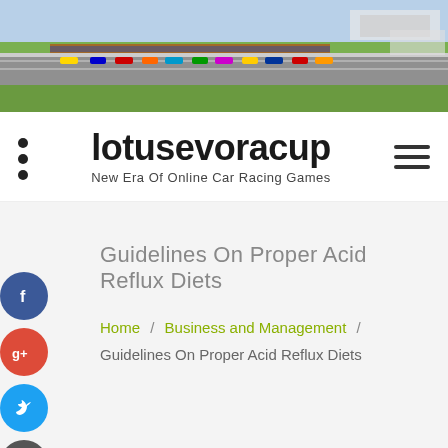[Figure (photo): Racing cars lined up on a race track with spectators and green grass, aerial/wide-angle view]
lotusevoracup
New Era Of Online Car Racing Games
Guidelines On Proper Acid Reflux Diets
Home / Business and Management / Guidelines On Proper Acid Reflux Diets